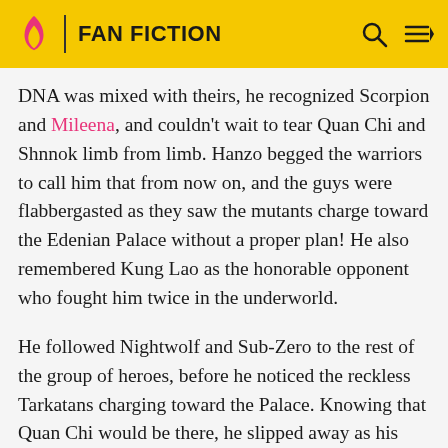FAN FICTION
DNA was mixed with theirs, he recognized Scorpion and Mileena, and couldn't wait to tear Quan Chi and Shnnok limb from limb. Hanzo begged the warriors to call him that from now on, and the guys were flabbergasted as they saw the mutants charge toward the Edenian Palace without a proper plan! He also remembered Kung Lao as the honorable opponent who fought him twice in the underworld.
He followed Nightwolf and Sub-Zero to the rest of the group of heroes, before he noticed the reckless Tarkatans charging toward the Palace. Knowing that Quan Chi would be there, he slipped away as his spear attached to a nearby tree! The pair ran after him, though he was the first to breach the throne room. Quan Chi was about to kill